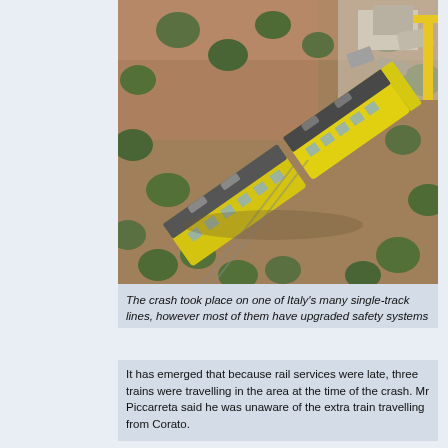[Figure (photo): Aerial view of a yellow train crash scene on a single-track line in Italy, surrounded by olive trees and debris]
The crash took place on one of Italy's many single-track lines, however most of them have upgraded safety systems
It has emerged that because rail services were late, three trains were travelling in the area at the time of the crash. Mr Piccarreta said he was unaware of the extra train travelling from Corato.